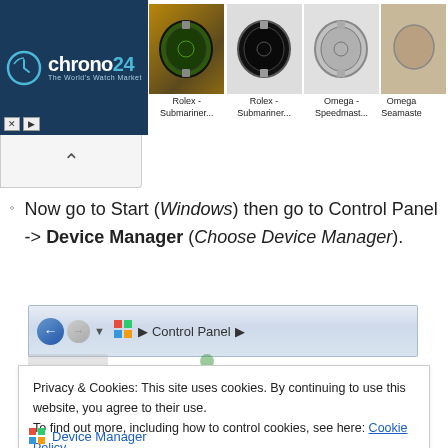[Figure (screenshot): Chrono24 advertisement banner showing watch marketplace with Rolex Submariner, Omega Speedmaster, and Omega Seamaster listings]
[Figure (screenshot): Browser back/navigation button area]
Now go to Start (Windows) then go to Control Panel -> Device Manager (Choose Device Manager).
[Figure (screenshot): Windows Explorer navigation bar showing Control Panel breadcrumb]
Privacy & Cookies: This site uses cookies. By continuing to use this website, you agree to their use.
To find out more, including how to control cookies, see here: Cookie Policy
Close and accept